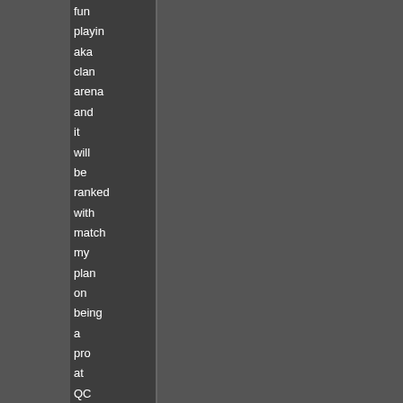fun playing aka clan arena and it will be ranked with match my plan on being a pro at QC vanis pretty much Also consi that if you comp as